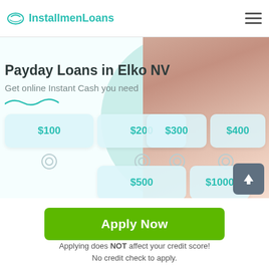InstallmenLoans
Payday Loans in Elko NV
Get online Instant Cash you need
[Figure (infographic): Loan amount selector with clickable cards showing $100, $200, $300, $400, $500, $1000 with radio button selectors below each, and a woman holding cash in the background with a mint green blob behind her.]
Apply Now
Applying does NOT affect your credit score!
No credit check to apply.